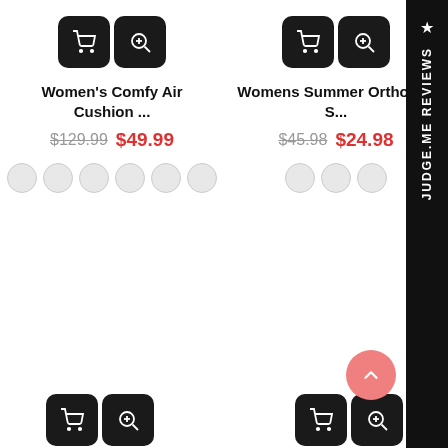[Figure (screenshot): E-commerce product listing showing two shoe products with action buttons (cart and zoom), product titles, original and sale prices, and color swatches. Right side has a Judge.me Reviews vertical sidebar. Bottom-right has a pink scroll-to-top button. Bottom of page shows two more product listings cut off.]
Women's Comfy Air Cushion ...
$129.99 $49.99
Womens Summer Orthotics S...
$45.98 $24.98
★ JUDGE.ME REVIEWS